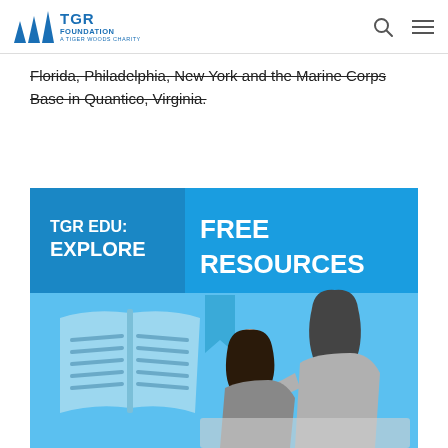TGR Foundation — A Tiger Woods Charity
Florida, Philadelphia, New York and the Marine Corps Base in Quantico, Virginia.
[Figure (infographic): TGR EDU: EXPLORE FREE RESOURCES banner with blue background. Shows an open book illustration on the left with two female students looking at a laptop on the right, in a blue-tinted photographic composition.]